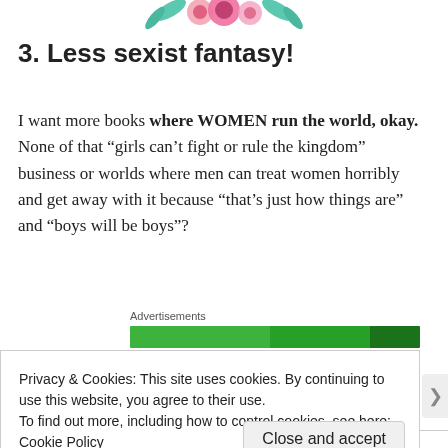[Figure (illustration): Decorative floral banner with pink flowers and teal leaves at the top of the page]
3. Less sexist fantasy!
I want more books where WOMEN run the world, okay. None of that “girls can’t fight or rule the kingdom” business or worlds where men can treat women horribly and get away with it because “that’s just how things are” and “boys will be boys”?
Advertisements
Privacy & Cookies: This site uses cookies. By continuing to use this website, you agree to their use.
To find out more, including how to control cookies, see here: Cookie Policy